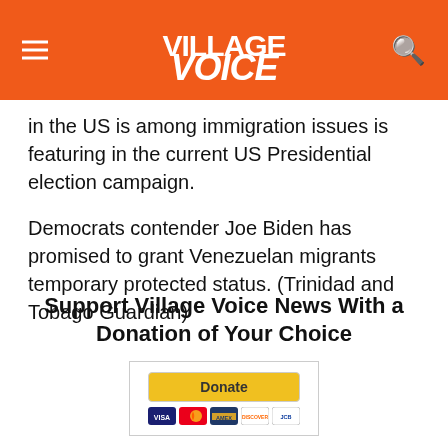Village Voice
in the US is among immigration issues is featuring in the current US Presidential election campaign.

Democrats contender Joe Biden has promised to grant Venezuelan migrants temporary protected status. (Trinidad and Tobago Guardian)
Support Village Voice News With a Donation of Your Choice
[Figure (other): PayPal Donate button with credit card icons (Visa, Mastercard, Discover, and others)]